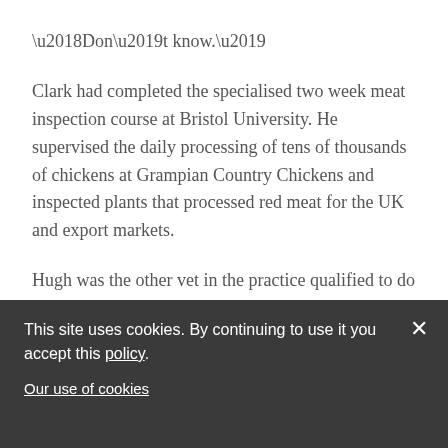‘Don’t know.’
Clark had completed the specialised two week meat inspection course at Bristol University. He supervised the daily processing of tens of thousands of chickens at Grampian Country Chickens and inspected plants that processed red meat for the UK and export markets.
Hugh was the other vet in the practice qualified to do meat work. After a few months he claimed he’d developed an allergy to chicken feathers. Going to the slaughterhouse made him wheeze. Clark asked me if I
This site uses cookies. By continuing to use it you accept this policy.

Our use of cookies